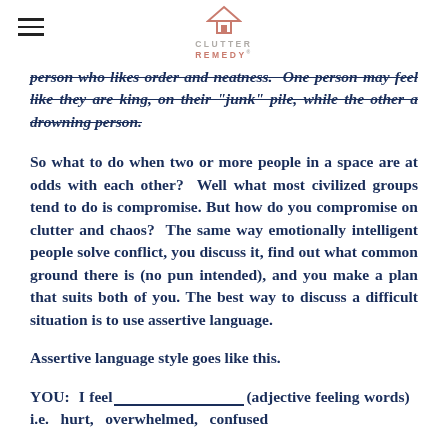CLUTTER REMEDY
person who likes order and neatness.  One person may feel like they are king, on their "junk" pile, while the other a drowning person.
So what to do when two or more people in a space are at odds with each other?  Well what most civilized groups tend to do is compromise. But how do you compromise on clutter and chaos?  The same way emotionally intelligent people solve conflict, you discuss it, find out what common ground there is (no pun intended), and you make a plan that suits both of you. The best way to discuss a difficult situation is to use assertive language.
Assertive language style goes like this.
YOU:  I feel___________________________(adjective feeling words)   i.e.  hurt,  overwhelmed,  confused